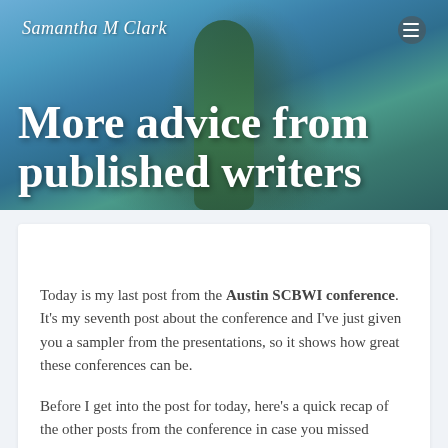Samantha M Clark
More advice from published writers
Today is my last post from the Austin SCBWI conference. It's my seventh post about the conference and I've just given you a sampler from the presentations, so it shows how great these conferences can be.
Before I get into the post for today, here's a quick recap of the other posts from the conference in case you missed